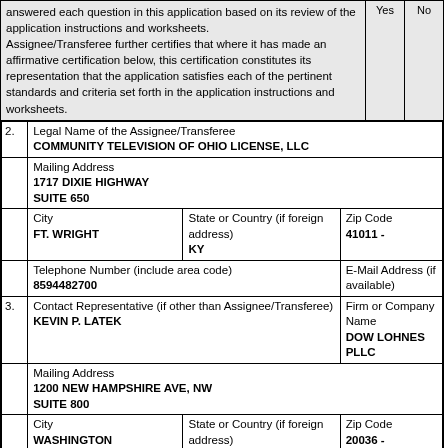| answered each question in this application based on its review of the application instructions and worksheets. Assignee/Transferee further certifies that where it has made an affirmative certification below, this certification constitutes its representation that the application satisfies each of the pertinent standards and criteria set forth in the application instructions and worksheets. | Yes | No |
| 2. | Legal Name of the Assignee/Transferee
COMMUNITY TELEVISION OF OHIO LICENSE, LLC |  |
|  | Mailing Address
1717 DIXIE HIGHWAY
SUITE 650 |  |
|  | City
FT. WRIGHT | State or Country (if foreign address)
KY | Zip Code
41011 - |
|  | Telephone Number (include area code)
8594482700 | E-Mail Address (if available) |
| 3. | Contact Representative (if other than Assignee/Transferee)
KEVIN P. LATEK | Firm or Company Name
DOW LOHNES PLLC |
|  | Mailing Address
1200 NEW HAMPSHIRE AVE, NW
SUITE 800 |  |
|  | City
WASHINGTON | State or Country (if foreign address)
DC | Zip Code
20036 - |